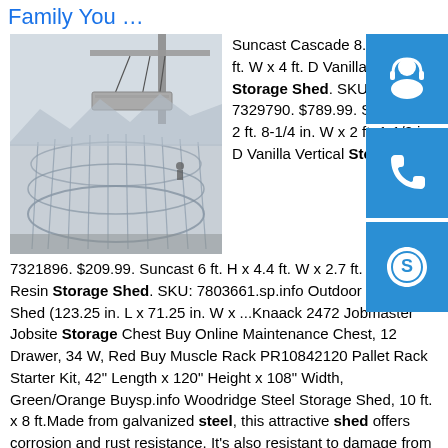Family You …
[Figure (photo): Construction site photo showing a crane lifting a large concrete slab above a curved steel-framed building structure under construction, with mountains in the background.]
[Figure (infographic): Three blue sidebar icon buttons: headset/customer service icon, phone icon, Skype icon.]
Suncast Cascade 8.5 ft. H x 7 ft. W x 4 ft. D Vanilla Resin Storage Shed. SKU: 7329790. $789.99. S 6 ft. H x 2 ft. 8-1/4 in. W x 2 ft. 1-1/2 in. D Vanilla Vertical Storage She 7321896. $209.99. Suncast 6 ft. H x 4.4 ft. W x 2.7 ft. D Gray Resin Storage Shed. SKU: 7803661.sp.info Outdoor Storage Shed (123.25 in. L x 71.25 in. W x ...Knaack 2472 Jobmaster Jobsite Storage Chest Buy Online Maintenance Chest, 12 Drawer, 34 W, Red Buy Muscle Rack PR10842120 Pallet Rack Starter Kit, 42" Length x 120" Height x 108" Width, Green/Orange Buysp.info Woodridge Steel Storage Shed, 10 ft. x 8 ft.Made from galvanized steel, this attractive shed offers corrosion and rust resistance. It's also resistant to damage from outdoor critters and insects due